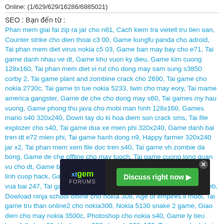Online: (1/629/629/16286/6885021)
SEO : Bạn đến từ :
Phan mem giai fai zip ra jar cho n81, Cach kiem tra vietell tru tien oan, Counter strike cho dien thoai c3 00, Game kungfu panda cho adroid, Tai phan mem diet virus nokia c5 03, Game ban may bay cho e71, Tai game danh nhau ve dt, Game khu vuon ky dieu, Game kim cuong 128x160, Tai phan mem diet vi rut cho dong may sam sung s3850 corby 2, Tai game plant and zombine crack cho 2690, Tai game cho nokia 2730c, Tai game tri tue nokia 5233, Iwin cho may eory, Tai mame america gangster, Game de che cho dong may s60, Tai games my hau vuong, Game phong thu java cho mobi man hinh 128x160, Games mario s40 320x240, Down tay du ki hoa diem son crack sms, Tai file explozer cho s40, Tai game dua xe mien phi 320x240, Game danh bai tren dt e72 mien phi, Tai game hanh dong n9, Happy farmer 320x240 jar x2, Tai phan mem xem file doc tren s40, Tai game vh zombie da bong, Game de che offline cho may tuoch, Tai game cuong long quan vu cho dt, Game bounce mien phi, Nokia c5 00 320x240 game, Thu linh cuop hack, Game gopet nuoi thu nokia c5 06 moi nhat, Tai game vua bai 247, Tai game chien thuat man hinh 320 240, Phanmemucweb, Dowload ninja school offline cho nokia 308, Age of empires ii mobi, Tai game tru than online2 cho nokia300, Nokia 5130 snake 2 game, Giao dien cho may nokia 3500c, Photoshop cho nokia s40, Game ly tieu long full cho s60, Hack army 230 cho mh 208x176, Tai gema danh bai vua bai 257, Ma auto danh xuyen dem ninja, Taj van kiem 176 208, Tai game co ti phu cho man hinh multi screen, Photoshop viet hoa cho s40, Download phan mem text editor, Tai game xe tang cho di dong, Tai game truyen thuyet long t... ia x2 01, Tai gme diet quy... ...ru tien, Game de nh... ...2, Ninjaschool094 v6, Phan mem diet virut cho gt s5233s, Day of the attack 3d
[Figure (other): xtgem FORUMS advertisement banner with 'Discuss right now' green button]